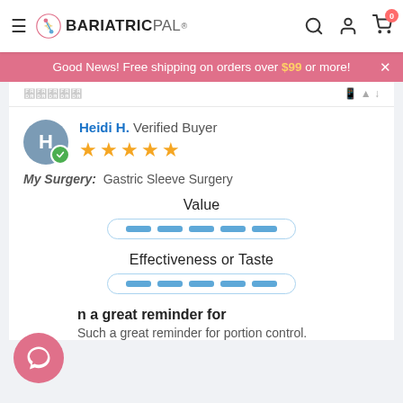[Figure (screenshot): BariatricPal website navigation bar with hamburger menu, logo, search, account, and cart icons (badge: 0)]
Good News! Free shipping on orders over $99 or more!
Heidi H.  Verified Buyer
My Surgery:  Gastric Sleeve Surgery
Value
[Figure (infographic): Horizontal rating bar with 5 blue dash segments for Value]
Effectiveness or Taste
[Figure (infographic): Horizontal rating bar with 5 blue dash segments for Effectiveness or Taste]
n a great reminder for
Such a great reminder for portion control.